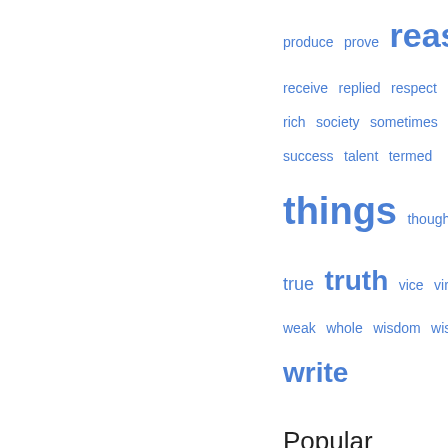[Figure (infographic): A tag cloud with words in varying sizes in blue color. Words include: produce, prove, reason (large), receive, replied, respect, rich, society, sometimes, success, talent, termed, things (very large), thought, tion, true, truth (large), vice, virtue, weak, whole, wisdom, wise, write (large).]
Popular passages
Page 41 - And down she sucked with her the whirling wave, Like one who grapples with his enemy, And strives to strangle him before he die.
Appears in 242 books